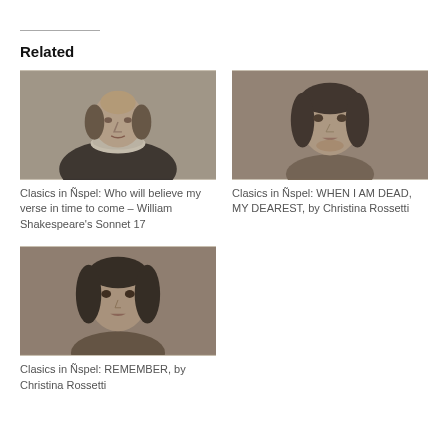Related
[Figure (illustration): Grayscale engraving-style portrait of William Shakespeare with ruff collar]
Clasics in Ñspel: Who will believe my verse in time to come – William Shakespeare's Sonnet 17
[Figure (photo): Grayscale historical photograph of Christina Rossetti, a woman with dark hair]
Clasics in Ñspel: WHEN I AM DEAD, MY DEAREST, by Christina Rossetti
[Figure (photo): Grayscale historical photograph of Christina Rossetti, a woman with dark hair]
Clasics in Ñspel: REMEMBER, by Christina Rossetti